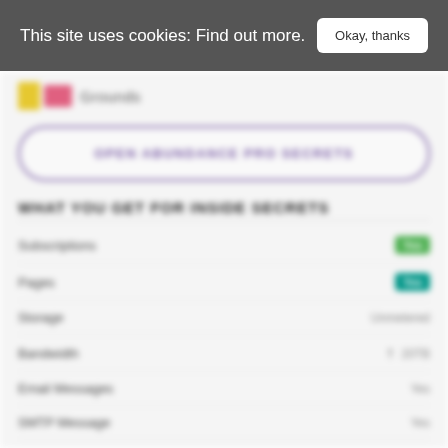This site uses cookies: Find out more.
Okay, thanks
[Figure (logo): Website logo with yellow and pink/red boxes and text]
OPEN ABUNDANCE PRO SECRETS
WHAT YOU GET FOR INSIDE SECRETS
Subscriptions — Yes
Pages — Yes
Storage — Unmetered
Bandwidth — ↑ 20TB
Email Messages — Yes
SMTP Message — Yes